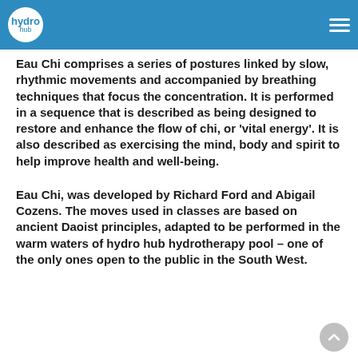hydro hub
Eau Chi comprises a series of postures linked by slow, rhythmic movements and accompanied by breathing techniques that focus the concentration. It is performed in a sequence that is described as being designed to restore and enhance the flow of chi, or 'vital energy'. It is also described as exercising the mind, body and spirit to help improve health and well-being.
Eau Chi, was developed by Richard Ford and Abigail Cozens. The moves used in classes are based on ancient Daoist principles, adapted to be performed in the warm waters of hydro hub hydrotherapy pool – one of the only ones open to the public in the South West.